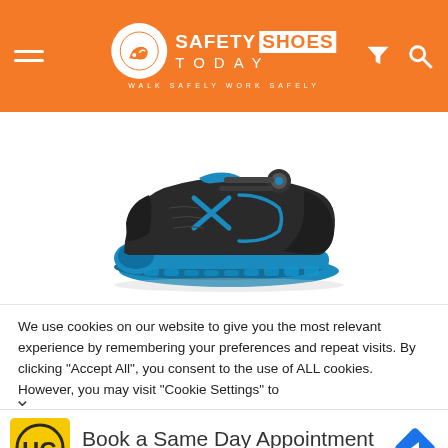Safety Shoes Today — Walk Safely Work Safely
[Figure (photo): Black and blue safety shoe with BOA lacing system, blue accented sole and upper details, on white background]
We use cookies on our website to give you the most relevant experience by remembering your preferences and repeat visits. By clicking "Accept All", you consent to the use of ALL cookies. However, you may visit "Cookie Settings" to
[Figure (infographic): Hair Cuttery advertisement: HC logo on yellow background, text 'Book a Same Day Appointment', subtitle 'Hair Cuttery', blue diamond navigation arrow icon on right]